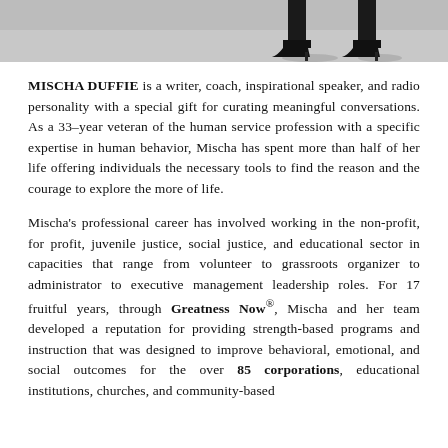[Figure (photo): Cropped photo showing the lower legs and high-heeled shoes of a person standing on a sidewalk or concrete surface.]
MISCHA DUFFIE is a writer, coach, inspirational speaker, and radio personality with a special gift for curating meaningful conversations. As a 33-year veteran of the human service profession with a specific expertise in human behavior, Mischa has spent more than half of her life offering individuals the necessary tools to find the reason and the courage to explore the more of life.
Mischa's professional career has involved working in the non-profit, for profit, juvenile justice, social justice, and educational sector in capacities that range from volunteer to grassroots organizer to administrator to executive management leadership roles. For 17 fruitful years, through Greatness Now®, Mischa and her team developed a reputation for providing strength-based programs and instruction that was designed to improve behavioral, emotional, and social outcomes for the over 85 corporations, educational institutions, churches, and community-based